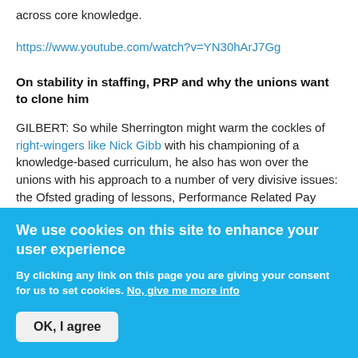across core knowledge.
https://www.youtube.com/watch?v=YN30hArJ7Gg
On stability in staffing, PRP and why the unions want to clone him
GILBERT: So while Sherrington might warm the cockles of right-wingers like Nick Gibb with his championing of a knowledge-based curriculum, he also has won over the unions with his approach to a number of very divisive issues: the Ofsted grading of lessons, Performance Related Pay (PRP) and holding individual teachers to account for their results. I think it's no exaggeration to say that together with bloggers like
We use cookies on this site to enhance your user experience
By clicking any link on this page you are giving your consent for us to set cookies. No, give me more info
OK, I agree